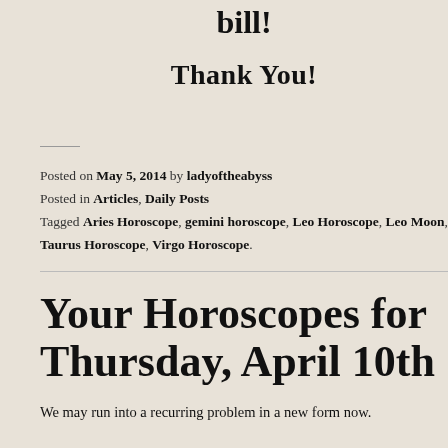bill!
Thank You!
Posted on May 5, 2014 by ladyoftheabyss
Posted in Articles, Daily Posts
Tagged Aries Horoscope, gemini horoscope, Leo Horoscope, Leo Moon, Taurus Horoscope, Virgo Horoscope.
Your Horoscopes for Thursday, April 10th
We may run into a recurring problem in a new form now.